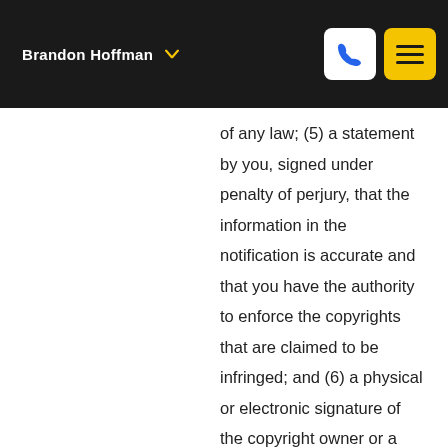Brandon Hoffman
of any law; (5) a statement by you, signed under penalty of perjury, that the information in the notification is accurate and that you have the authority to enforce the copyrights that are claimed to be infringed; and (6) a physical or electronic signature of the copyright owner or a person authorized to act on the copyright owners behalf. Failure to include all of the above information may